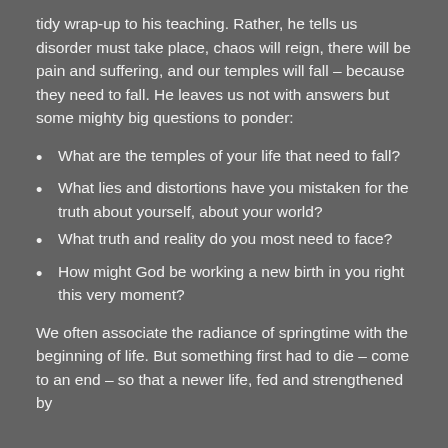tidy wrap-up to his teaching. Rather, he tells us disorder must take place, chaos will reign, there will be pain and suffering, and our temples will fall – because they need to fall. He leaves us not with answers but some mighty big questions to ponder:
What are the temples of your life that need to fall?
What lies and distortions have you mistaken for the truth about yourself, about your world?
What truth and reality do you most need to face?
How might God be working a new birth in you right this very moment?
We often associate the radiance of springtime with the beginning of life. But something first had to die – come to an end – so that a newer life, fed and strengthened by